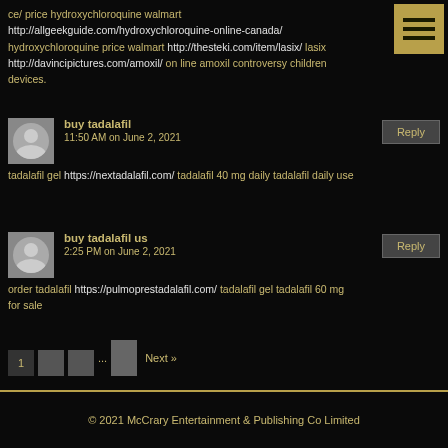ce/ price hydroxychloroquine walmart http://allgeekguide.com/hydroxychloroquine-online-canada/ hydroxychloroquine price walmart http://thesteki.com/item/lasix/ lasix http://davincipictures.com/amoxil/ on line amoxil controversy children devices.
buy tadalafil
11:50 AM on June 2, 2021
tadalafil gel https://nextadalafil.com/ tadalafil 40 mg daily tadalafil daily use
buy tadalafil us
2:25 PM on June 2, 2021
order tadalafil https://pulmoprestadalafil.com/ tadalafil gel tadalafil 60 mg for sale
1 ... Next »
© 2021 McCrary Entertainment & Publishing Co Limited